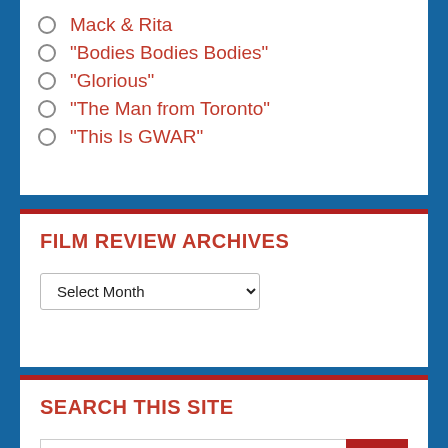Mack & Rita
“Bodies Bodies Bodies”
“Glorious”
“The Man from Toronto”
“This Is GWAR”
FILM REVIEW ARCHIVES
SEARCH THIS SITE